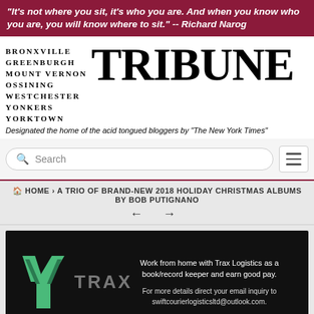"It's not where you sit, it's who you are. And when you know who you are, you will know where to sit." -- Richard Narog
[Figure (logo): Bronxville Greenburgh Mount Vernon Ossining Westchester Yonkers Yorktown Tribune newspaper logo]
Designated the home of the acid tongued bloggers by "The New York Times"
Search
HOME › A TRIO OF BRAND-NEW 2018 HOLIDAY CHRISTMAS ALBUMS BY BOB PUTIGNANO
[Figure (infographic): Trax Logistics advertisement on black background. Green angular Y-shaped logo beside grey TRAX text. Text reads: Work from home with Trax Logistics as a book/record keeper and earn good pay. For more details direct your email inquiry to swiftcourierlogisticsltd@outlook.com.]